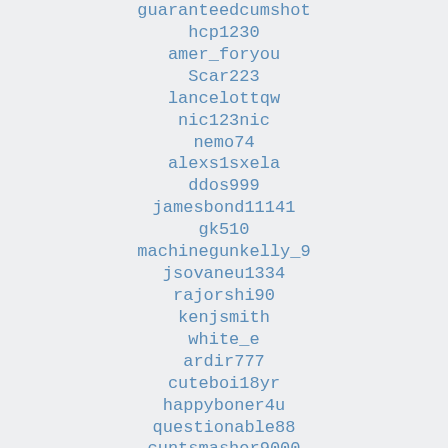guaranteedcumshot
hcp1230
amer_foryou
Scar223
lancelottqw
nic123nic
nemo74
alexs1sxela
ddos999
jamesbond11141
gk510
machinegunkelly_9
jsovaneu1334
rajorshi90
kenjsmith
white_e
ardir777
cuteboi18yr
happyboner4u
questionable88
cuntsmasher9000
scharlot06
digosouza
raguzrita
jerliu123